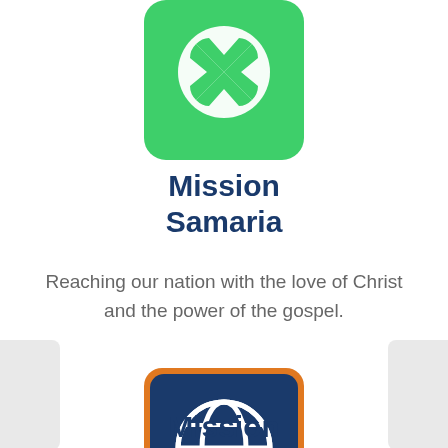[Figure (logo): Green rounded square with white Xbox-style icon (circle with X shape inside)]
Mission Samaria
Reaching our nation with the love of Christ and the power of the gospel.
[Figure (logo): Dark blue rounded square with orange border containing a white globe/grid icon]
Mission